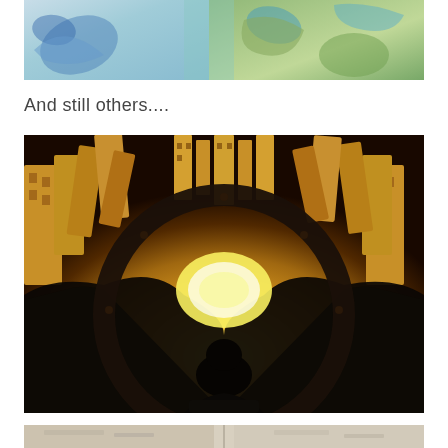[Figure (illustration): Top portion of an illustration showing abstract figures in teal/blue and green tones]
And still others....
[Figure (illustration): Science fiction illustration showing a pilot/figure in a cockpit looking out at a futuristic golden city of tall buildings from an aerial perspective, rendered in warm golden/amber tones with dramatic perspective]
[Figure (illustration): Bottom partial illustration in grey/silver tones, partially cut off at bottom of page]